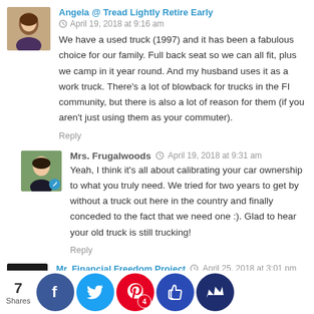[Figure (photo): Avatar photo of Angela, a woman with dark hair smiling]
Angela @ Tread Lightly Retire Early
April 19, 2018 at 9:16 am
We have a used truck (1997) and it has been a fabulous choice for our family. Full back seat so we can all fit, plus we camp in it year round. And my husband uses it as a work truck. There's a lot of blowback for trucks in the FI community, but there is also a lot of reason for them (if you aren't just using them as your commuter).
Reply
[Figure (photo): Avatar photo of Mrs. Frugalwoods, a woman outdoors]
Mrs. Frugalwoods
April 19, 2018 at 9:31 am
Yeah, I think it's all about calibrating your car ownership to what you truly need. We tried for two years to get by without a truck out here in the country and finally conceded to the fact that we need one :). Glad to hear your old truck is still trucking!
Reply
[Figure (photo): Avatar for Mr. Financial Freedom Project, dark mountain/lightning logo]
Mr. Financial Freedom Project
April 25, 2018 at 3:01 pm
...right that there's plenty of low-back...ording to...ugal b...comm...ost of...ably Mr...
[Figure (infographic): Social sharing bar with 7 Shares and Facebook, Twitter, Pinterest (4), thumbs-up, and crown buttons]